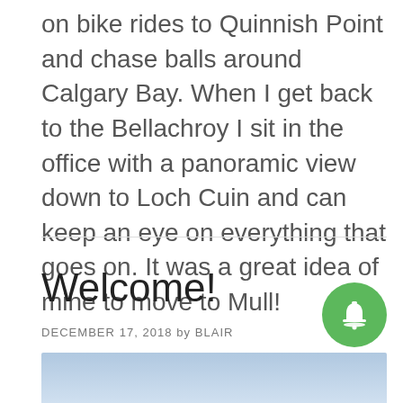on bike rides to Quinnish Point and chase balls around Calgary Bay. When I get back to the Bellachroy I sit in the office with a panoramic view down to Loch Cuin and can keep an eye on everything that goes on. It was a great idea of mine to move to Mull!
Welcome!
DECEMBER 17, 2018 by BLAIR
[Figure (photo): Blue sky and clouds photo strip at bottom of page]